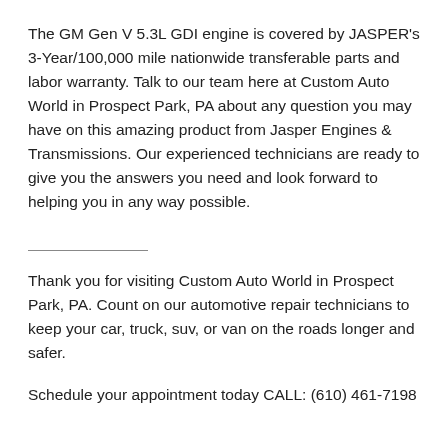The GM Gen V 5.3L GDI engine is covered by JASPER's 3-Year/100,000 mile nationwide transferable parts and labor warranty. Talk to our team here at Custom Auto World in Prospect Park, PA about any question you may have on this amazing product from Jasper Engines & Transmissions. Our experienced technicians are ready to give you the answers you need and look forward to helping you in any way possible.
Thank you for visiting Custom Auto World in Prospect Park, PA. Count on our automotive repair technicians to keep your car, truck, suv, or van on the roads longer and safer.
Schedule your appointment today CALL: (610) 461-7198